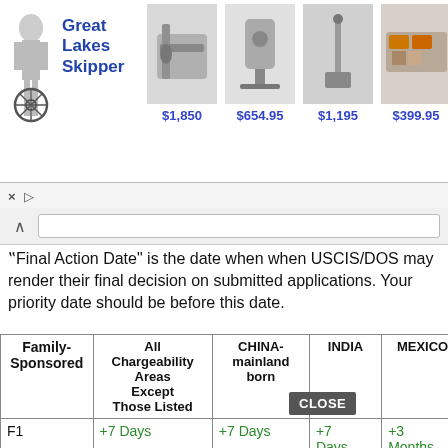[Figure (screenshot): Great Lakes Skipper advertisement banner with product images and prices: $1,850, $654.95, $1,195, $399.95]
Final Action Date" is the date when when USCIS/DOS may render their final decision on submitted applications. Your priority date should be before this date.
| Family-Sponsored | All Chargeability Areas Except Those Listed | CHINA-mainland born | INDIA | MEXICO | PHIL |
| --- | --- | --- | --- | --- | --- |
| F1 | +7 Days | +7 Days | +7 Days | +3 Months | +8 D |
| F2A | No Change | No Change | No Change | No Change | No C |
| F2B | +7 Days | +7 Days | +7 Days | +1 Month | +7 D |
|  |  |  |  | +1 |  |